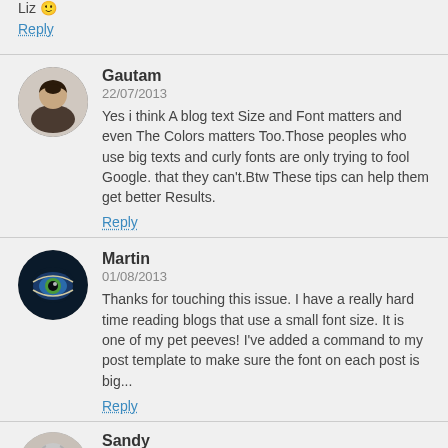Liz 🙂
Reply
Gautam
22/07/2013
Yes i think A blog text Size and Font matters and even The Colors matters Too.Those peoples who use big texts and curly fonts are only trying to fool Google. that they can't.Btw These tips can help them get better Results.
Reply
Martin
01/08/2013
Thanks for touching this issue. I have a really hard time reading blogs that use a small font size. It is one of my pet peeves! I've added a command to my post template to make sure the font on each post is big...
Reply
Sandy
09/08/2013
Hi Martin,